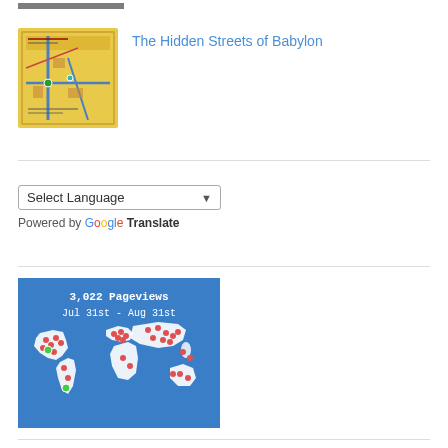[Figure (photo): Partial top edge of an image (cropped, dark/grey tones) — appears to be a book or map thumbnail partially visible at top]
[Figure (map): Book cover thumbnail showing a map titled 'The City of Babylon' with colored streets on a yellow background]
The Hidden Streets of Babylon
[Figure (screenshot): Google Translate widget: a dropdown selector labeled 'Select Language']
Powered by Google Translate
[Figure (map): World map showing 3,022 Pageviews Jul 31st – Aug 31st with red and green dots indicating visitor locations, on a blue background]